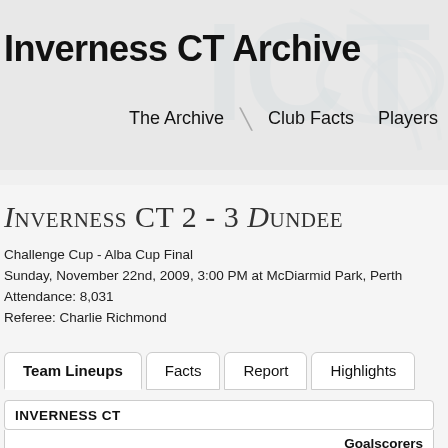Inverness CT Archive
The Archive  Club Facts  Players
Inverness CT 2 - 3 Dundee
Challenge Cup - Alba Cup Final
Sunday, November 22nd, 2009, 3:00 PM at McDiarmid Park, Perth
Attendance: 8,031
Referee: Charlie Richmond
Team Lineups  Facts  Report  Highlights
| INVERNESS CT | Goalscorers |
| --- | --- |